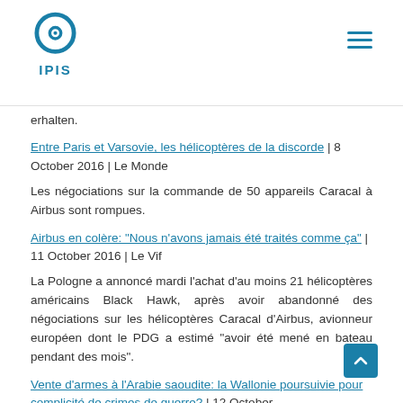[Figure (logo): IPIS logo: blue circular icon with inner dot and arc, with 'IPIS' text below in blue]
erhalten.
Entre Paris et Varsovie, les hélicoptères de la discorde | 8 October 2016 | Le Monde
Les négociations sur la commande de 50 appareils Caracal à Airbus sont rompues.
Airbus en colère: "Nous n'avons jamais été traités comme ça" | 11 October 2016 | Le Vif
La Pologne a annoncé mardi l'achat d'au moins 21 hélicoptères américains Black Hawk, après avoir abandonné des négociations sur les hélicoptères Caracal d'Airbus, avionneur européen dont le PDG a estimé "avoir été mené en bateau pendant des mois".
Vente d'armes à l'Arabie saoudite: la Wallonie poursuivie pour complicité de crimes de guerre? | 12 October